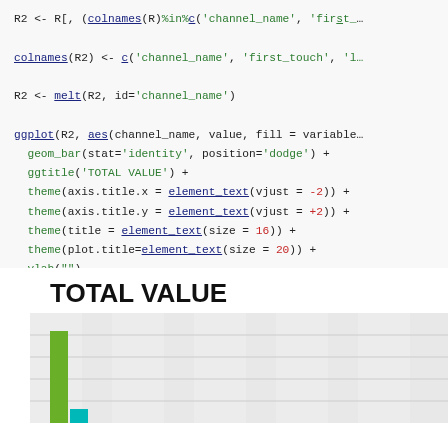R2 <- R[, (colnames(R)%in%c('channel_name', 'first_...

colnames(R2) <- c('channel_name', 'first_touch', 'l...

R2 <- melt(R2, id='channel_name')

ggplot(R2, aes(channel_name, value, fill = variable
  geom_bar(stat='identity', position='dodge') +
  ggtitle('TOTAL VALUE') +
  theme(axis.title.x = element_text(vjust = -2)) +
  theme(axis.title.y = element_text(vjust = +2)) +
  theme(title = element_text(size = 16)) +
  theme(plot.title=element_text(size = 20)) +
  ylab("")
[Figure (bar-chart): Partial view of a grouped bar chart with green and teal bars, x-axis shows channel names (cut off), y-axis unlabeled. Only the first bar group is visible with two bars (green and teal/cyan).]